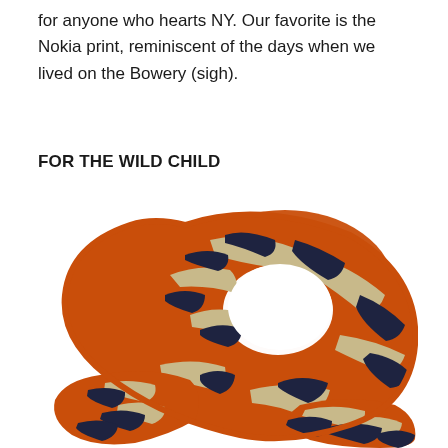for anyone who hearts NY. Our favorite is the Nokia print, reminiscent of the days when we lived on the Bowery (sigh).
FOR THE WILD CHILD
[Figure (photo): A tiger-stripe patterned scarf in orange, navy/black, and tan/beige, coiled and draped in a loop shape against a white background.]